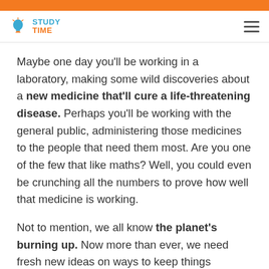STUDY TIME
Maybe one day you'll be working in a laboratory, making some wild discoveries about a new medicine that'll cure a life-threatening disease. Perhaps you'll be working with the general public, administering those medicines to the people that need them most. Are you one of the few that like maths? Well, you could even be crunching all the numbers to prove how well that medicine is working.
Not to mention, we all know the planet's burning up. Now more than ever, we need fresh new ideas on ways to keep things sustainable. In a few years time,